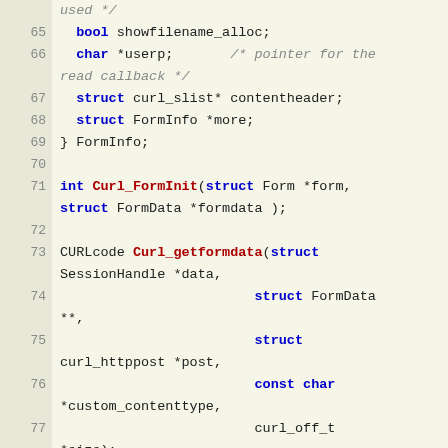Source code listing lines 65-81, showing C struct and function declarations for curl form handling
[Figure (screenshot): C source code with line numbers 65-81 showing struct FormInfo members and function declarations for Curl_FormInit, Curl_getformdata, and Curl_FormReader]